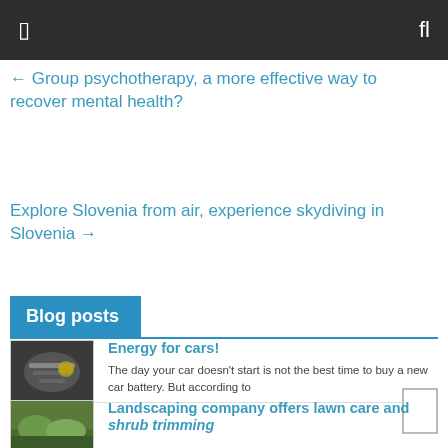[ navigation bar with menu icon and search icon ]
← Group psychotherapy, a more effective way to recover mental health?
Explore Slovenia from air, experience skydiving in Slovenia →
Blog posts
Energy for cars!
The day your car doesn't start is not the best time to buy a new car battery. But according to
[Figure (photo): Person working on a car engine/battery under car hood]
Landscaping company offers lawn care and shrub trimming
[Figure (photo): Outdoor landscaping scene with greenery]